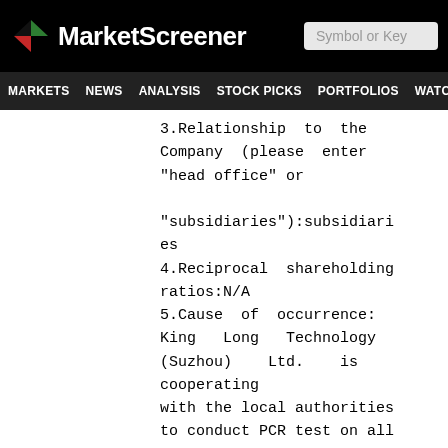MarketScreener | Symbol or Key
MARKETS NEWS ANALYSIS STOCK PICKS PORTFOLIOS WATCHLI
3.Relationship to the Company (please enter "head office" or "subsidiaries"):subsidiaries
4.Reciprocal shareholding ratios:N/A
5.Cause of occurrence: King Long Technology (Suzhou) Ltd. is cooperating with the local authorities to conduct PCR test on all